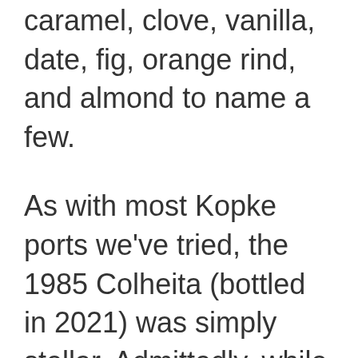caramel, clove, vanilla, date, fig, orange rind, and almond to name a few.
As with most Kopke ports we've tried, the 1985 Colheita (bottled in 2021) was simply stellar. Admittedly, while we were getting some aged characteristics, namely chocolate and caramel,